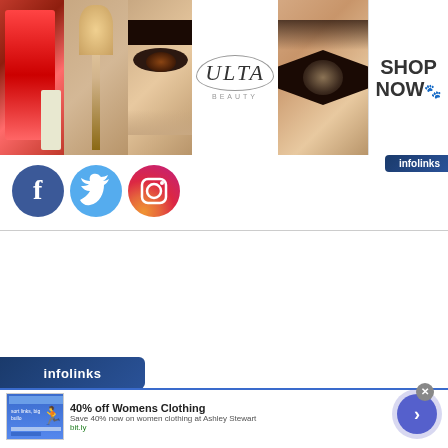[Figure (screenshot): Ulta Beauty advertisement banner with makeup imagery, ULTA logo, and SHOP NOW button]
[Figure (screenshot): Social media icons: Facebook, Twitter, Instagram circular buttons]
[Figure (screenshot): Infolinks ad network label in bottom left corner]
[Figure (screenshot): Infolinks ad: 40% off Womens Clothing - Save 40% now on women clothing at Ashley Stewart - bit.ly, with close button and navigation arrow]